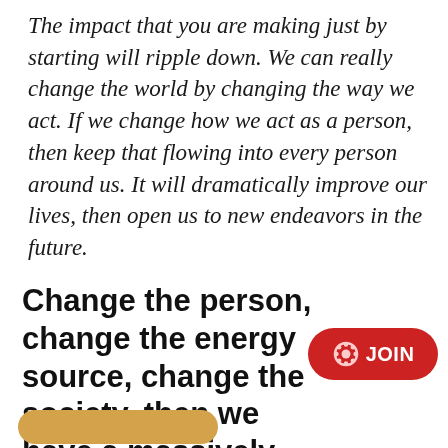The impact that you are making just by starting will ripple down. We can really change the world by changing the way we act. If we change how we act as a person, then keep that flowing into every person around us. It will dramatically improve our lives, then open us to new endeavors in the future.
Change the person, change the energy source, change the society, then we have a massively new unified
[Figure (other): Red rounded rectangle button with a gear/settings icon and the text JOIN in white bold font]